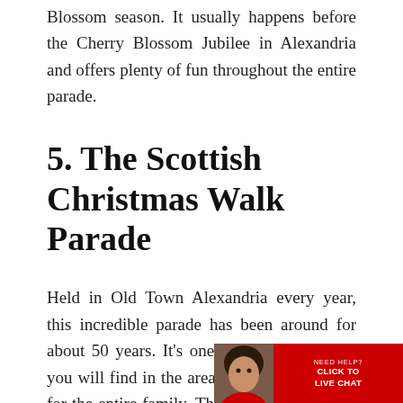Blossom season. It usually happens before the Cherry Blossom Jubilee in Alexandria and offers plenty of fun throughout the entire parade.
5. The Scottish Christmas Walk Parade
Held in Old Town Alexandria every year, this incredible parade has been around for about 50 years. It's one of the best parades you will find in the area with plenty to offer for the entire family. The City of Alexandria Pipes and Drums is a part of t… along with bagpiping groups and…
[Figure (other): Live chat widget with avatar photo, red background, text reading NEED HELP? CLICK TO LIVE CHAT]